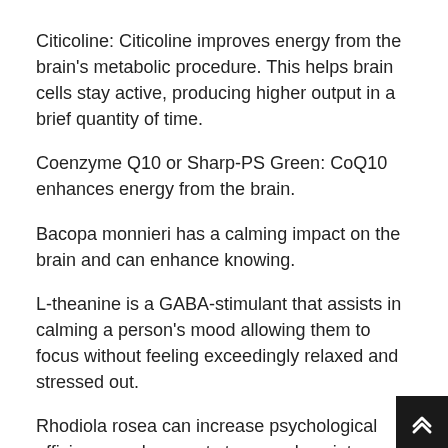Citicoline: Citicoline improves energy from the brain's metabolic procedure. This helps brain cells stay active, producing higher output in a brief quantity of time.
Coenzyme Q10 or Sharp-PS Green: CoQ10 enhances energy from the brain.
Bacopa monnieri has a calming impact on the brain and can enhance knowing.
L-theanine is a GABA-stimulant that assists in calming a person's mood allowing them to focus without feeling exceedingly relaxed and stressed out.
Rhodiola rosea can increase psychological efficiency and prevent stress and anxiety during high-pressure scenarios.